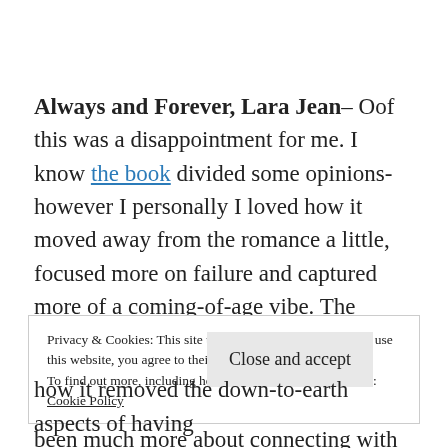Always and Forever, Lara Jean– Oof this was a disappointment for me. I know the book divided some opinions- however I personally I loved how it moved away from the romance a little, focused more on failure and captured more of a coming-of-age vibe. The movie didn't do that for me- it was ALL about the romance. Sure, her relationship had featured in her dreams, yet it had been much more about connecting with her...
Privacy & Cookies: This site uses cookies. By continuing to use this website, you agree to their use. To find out more, including how to control cookies, see here: Cookie Policy
how it removed the down-to-earth aspects of having